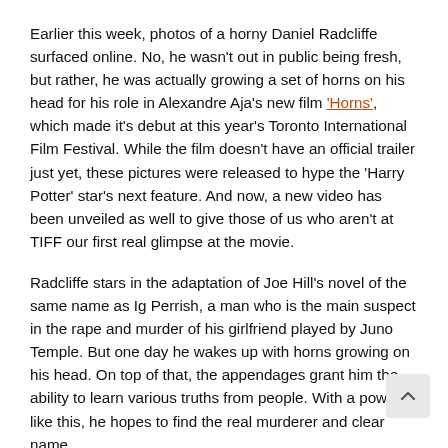Earlier this week, photos of a horny Daniel Radcliffe surfaced online. No, he wasn't out in public being fresh, but rather, he was actually growing a set of horns on his head for his role in Alexandre Aja's new film 'Horns', which made it's debut at this year's Toronto International Film Festival. While the film doesn't have an official trailer just yet, these pictures were released to hype the 'Harry Potter' star's next feature. And now, a new video has been unveiled as well to give those of us who aren't at TIFF our first real glimpse at the movie.
Radcliffe stars in the adaptation of Joe Hill's novel of the same name as Ig Perrish, a man who is the main suspect in the rape and murder of his girlfriend played by Juno Temple. But one day he wakes up with horns growing on his head. On top of that, the appendages grant him the ability to learn various truths from people. With a power like this, he hopes to find the real murderer and clear name.